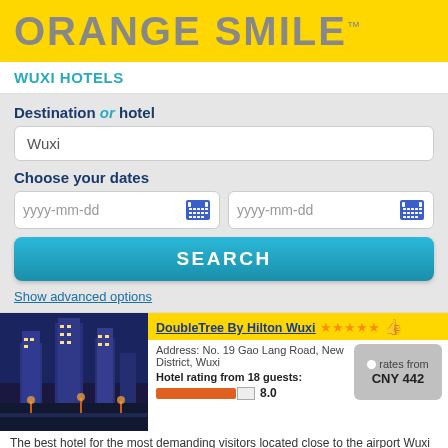[Figure (logo): Orange Smile logo on yellow background]
WUXI HOTELS
Destination or hotel
Wuxi
Choose your dates
yyyy-mm-dd  yyyy-mm-dd
SEARCH
Show advanced options
DoubleTree By Hilton Wuxi ★★★★★ 👍
Address: No. 19 Gao Lang Road, New District, Wuxi
Hotel rating from 18 guests:
8.0
rates from CNY 442
The best hotel for the most demanding visitors located close to the airport Wuxi Shoufang. Own car rental centre, a lounge bar